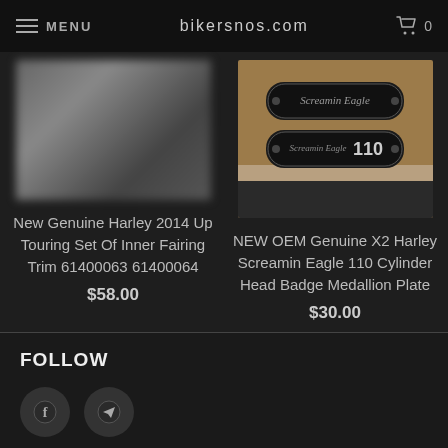MENU  bikersnos.com  0
[Figure (photo): Blurred product image for inner fairing trim]
New Genuine Harley 2014 Up Touring Set Of Inner Fairing Trim 61400063 61400064
$58.00
[Figure (photo): Photo of Screamin Eagle 110 cylinder head badge medallion plate - black oval badge on tan/brown surface]
NEW OEM Genuine X2 Harley Screamin Eagle 110 Cylinder Head Badge Medallion Plate
$30.00
FOLLOW